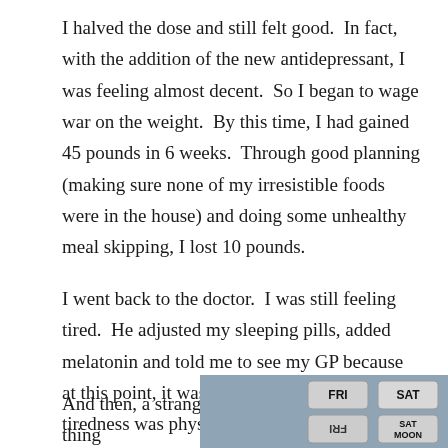I halved the dose and still felt good.  In fact, with the addition of the new antidepressant, I was feeling almost decent.  So I began to wage war on the weight.  By this time, I had gained 45 pounds in 6 weeks.  Through good planning (making sure none of my irresistible foods were in the house) and doing some unhealthy meal skipping, I lost 10 pounds.
I went back to the doctor.  I was still feeling tired.  He adjusted my sleeping pills, added melatonin and told me to see my GP because at this point, it was clear to him that the tiredness was physical and not related to any mental illnesses.
And then, a strange thing
[Figure (photo): A pill organizer showing compartments labeled FRI, SAT, and SAT MOON, photographed from above at an angle.]